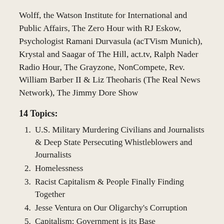Wolff, the Watson Institute for International and Public Affairs, The Zero Hour with RJ Eskow, Psychologist Ramani Durvasula (acTVism Munich), Krystal and Saagar of The Hill, act.tv, Ralph Nader Radio Hour, The Grayzone, NonCompete, Rev. William Barber II & Liz Theoharis (The Real News Network), The Jimmy Dore Show
14 Topics:
U.S. Military Murdering Civilians and Journalists & Deep State Persecuting Whistleblowers and Journalists
Homelessness
Racist Capitalism & People Finally Finding Together
Jesse Ventura on Our Oligarchy's Corruption
Capitalism: Government is its Base
Mind: Trauma, PTSD, Cultural Lack of Compassion and Empathy, Need for Change…
Antidemocratic Duopoly Corruption Revealed by